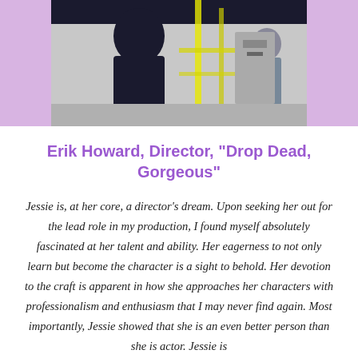[Figure (photo): Photo of a person (Erik Howard) in a dark setting, appearing to be on a film set or gym, with equipment visible in the background. The image is partially cropped at the top of the page against a lavender/purple background.]
Erik Howard, Director, "Drop Dead, Gorgeous"
Jessie is, at her core, a director's dream. Upon seeking her out for the lead role in my production, I found myself absolutely fascinated at her talent and ability. Her eagerness to not only learn but become the character is a sight to behold. Her devotion to the craft is apparent in how she approaches her characters with professionalism and enthusiasm that I may never find again. Most importantly, Jessie showed that she is an even better person than she is actor. Jessie is